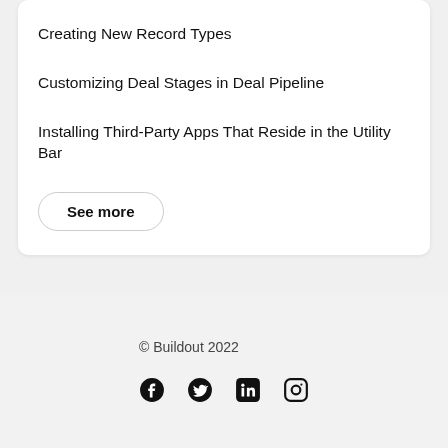Creating New Record Types
Customizing Deal Stages in Deal Pipeline
Installing Third-Party Apps That Reside in the Utility Bar
See more
© Buildout 2022